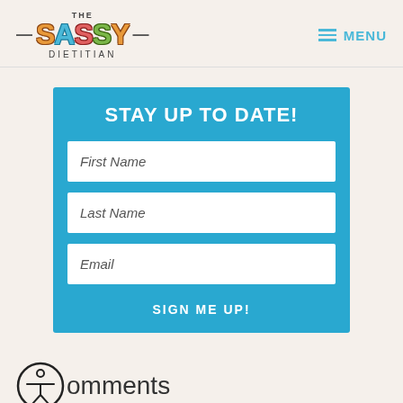The Sassy Dietitian — MENU
STAY UP TO DATE!
First Name
Last Name
Email
SIGN ME UP!
Comments